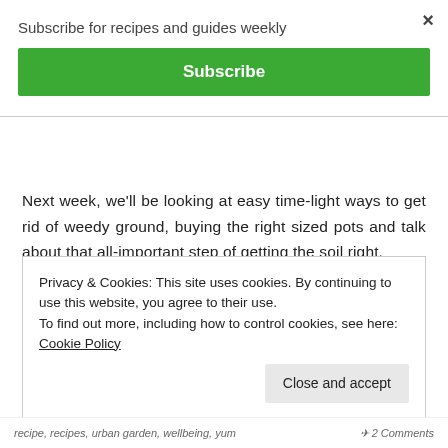Subscribe for recipes and guides weekly
Subscribe
×
Next week, we'll be looking at easy time-light ways to get rid of weedy ground, buying the right sized pots and talk about that all-important step of getting the soil right.
Privacy & Cookies: This site uses cookies. By continuing to use this website, you agree to their use.
To find out more, including how to control cookies, see here: Cookie Policy
Close and accept
recipe, recipes, urban garden, wellbeing, yum   💬 2 Comments